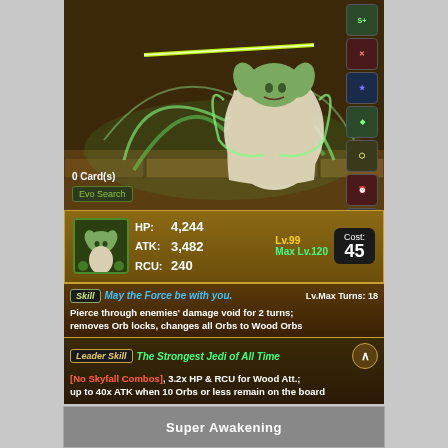[Figure (illustration): Yoda character illustration with green lightsaber and Force energy swirling around him, stone dungeon background]
0 Card(s)
Evo Search
| HP: | 4,244 | Lv.99 |
| ATK: | 3,482 | Max Lv.120 |
| RCU: | 240 | Cost: 45 |
Skill  May the Force be with you.   Lv.Max  Turns: 18
Pierce through enemies' damage void for 2 turns; removes Orb locks, changes all Orbs to Wood Orbs
Leader Skill  The Strongest Jedi of All Time
[No Skyfall Combos], 3.2x HP & RCU for Wood Att.; up to 40x ATK when 10 Orbs or less remain on the board
Super Awakening